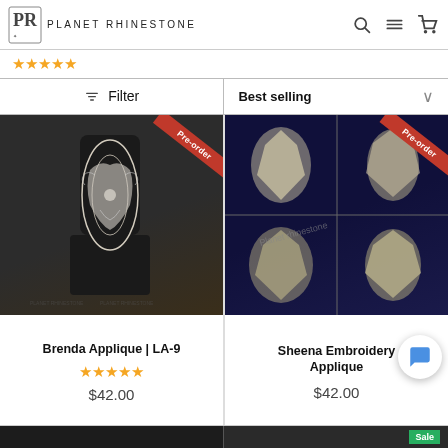Planet Rhinestone
Filter | Best selling
[Figure (photo): Brenda Applique LA-9 product photo showing a lace applique on a mannequin, with Pre-order badge]
Brenda Applique | LA-9 ★★★★★ $42.00
[Figure (photo): Sheena Embroidery Applique product photo showing rhinestone/embroidery applique from multiple angles, with Pre-order badge and Planet Rhinestone watermark]
Sheena Embroidery Applique $42.00